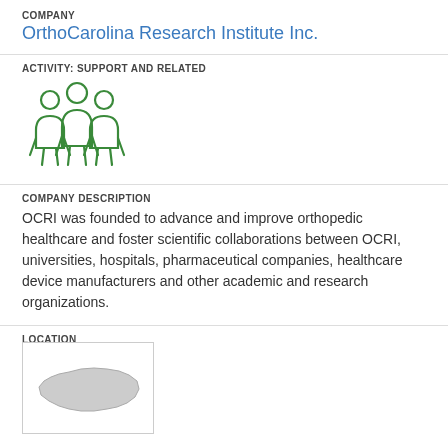COMPANY
OrthoCarolina Research Institute Inc.
ACTIVITY: SUPPORT AND RELATED
[Figure (illustration): Three people/group icon in green outline style]
COMPANY DESCRIPTION
OCRI was founded to advance and improve orthopedic healthcare and foster scientific collaborations between OCRI, universities, hospitals, pharmaceutical companies, healthcare device manufacturers and other academic and research organizations.
LOCATION
Charlotte
[Figure (map): Map thumbnail showing outline of North Carolina state]